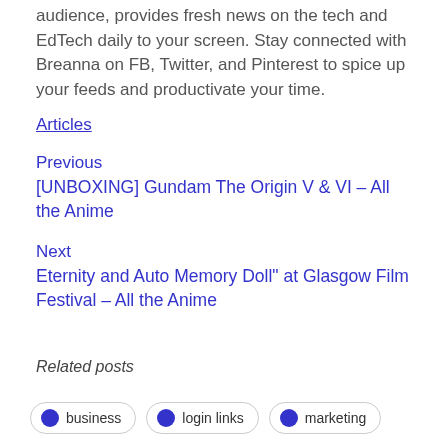audience, provides fresh news on the tech and EdTech daily to your screen. Stay connected with Breanna on FB, Twitter, and Pinterest to spice up your feeds and productivate your time.
Articles
Previous
[UNBOXING] Gundam The Origin V & VI – All the Anime
Next
Eternity and Auto Memory Doll" at Glasgow Film Festival – All the Anime
Related posts
business
login links
marketing